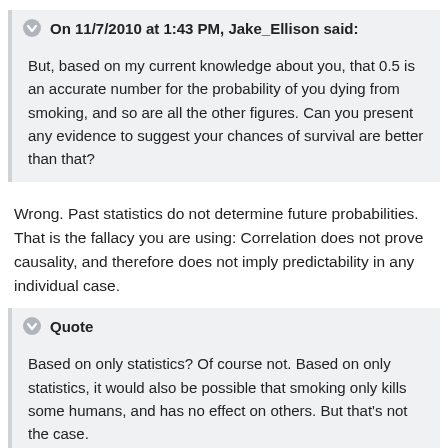On 11/7/2010 at 1:43 PM, Jake_Ellison said:
But, based on my current knowledge about you, that 0.5 is an accurate number for the probability of you dying from smoking, and so are all the other figures. Can you present any evidence to suggest your chances of survival are better than that?
Wrong. Past statistics do not determine future probabilities. That is the fallacy you are using: Correlation does not prove causality, and therefore does not imply predictability in any individual case.
Quote
Based on only statistics? Of course not. Based on only statistics, it would also be possible that smoking only kills some humans, and has no effect on others. But that's not the case.